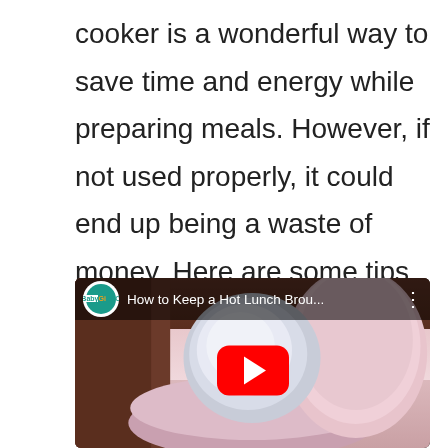cooker is a wonderful way to save time and energy while preparing meals. However, if not used properly, it could end up being a waste of money. Here are some tips on how to use a slow cooker correctly.
[Figure (screenshot): YouTube video thumbnail showing a pink thermos container from above, with video title 'How to Keep a Hot Lunch Brou...' and BabyGizmo channel logo in the top bar, with a red YouTube play button overlay.]